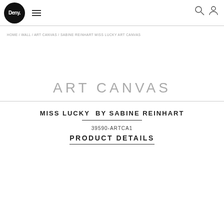Deny. | Navigation header with logo, hamburger menu, search and user icons
HOME / WALL / ART CANVAS / SABINE REINHART MISS LUCKY ART CANVAS
ART CANVAS
MISS LUCKY  BY SABINE REINHART
39590-ARTCA1
PRODUCT DETAILS